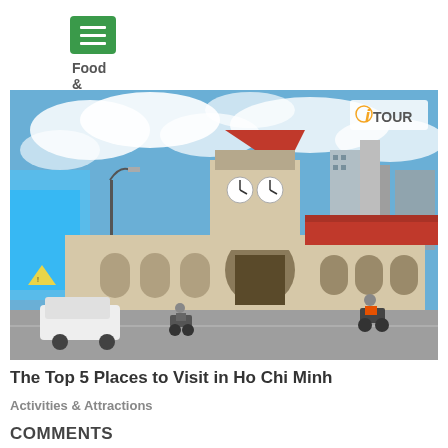Food & Drinks
[Figure (photo): Exterior view of Ben Thanh Market in Ho Chi Minh City, Vietnam. The iconic clock tower building with arched entrances is visible, with motorbikes and cars on the street in front. Blue sky with clouds. iTOUR watermark in top right corner.]
The Top 5 Places to Visit in Ho Chi Minh
Activities & Attractions
COMMENTS